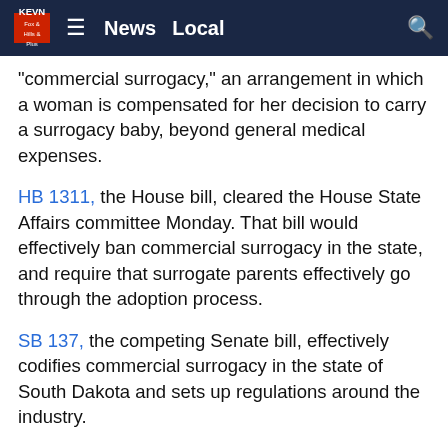KEVN  ≡  News  Local  🔍
"commercial surrogacy," an arrangement in which a woman is compensated for her decision to carry a surrogacy baby, beyond general medical expenses.
HB 1311, the House bill, cleared the House State Affairs committee Monday. That bill would effectively ban commercial surrogacy in the state, and require that surrogate parents effectively go through the adoption process.
SB 137, the competing Senate bill, effectively codifies commercial surrogacy in the state of South Dakota and sets up regulations around the industry.
Many conservatives and conservative organizations, such as South Dakota Right to Life and the Family Heritage Alliance, argue that commercial surrogacy commodifies children.